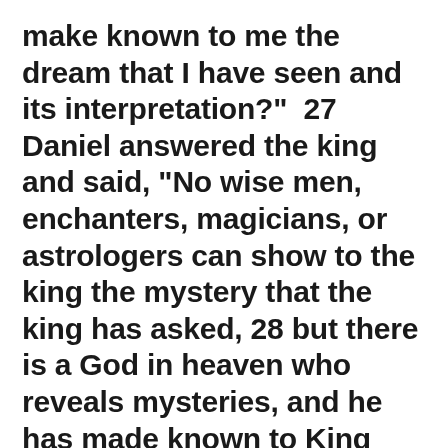make known to me the dream that I have seen and its interpretation?"  27 Daniel answered the king and said, "No wise men, enchanters, magicians, or astrologers can show to the king the mystery that the king has asked, 28 but there is a God in heaven who reveals mysteries, and he has made known to King Nebuchadnezzar what will be in the latter days. Your dream and the visions of your head as you lay in bed are these: